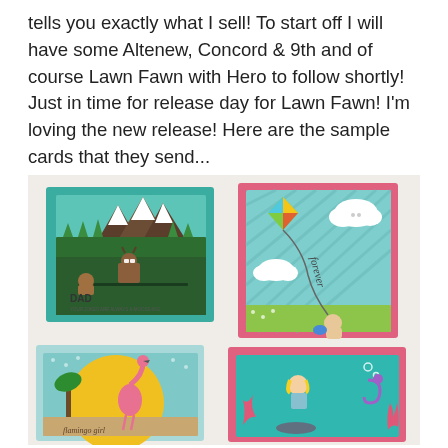tells you exactly what I sell! To start off I will have some Altenew, Concord & 9th and of course Lawn Fawn with Hero to follow shortly! Just in time for release day for Lawn Fawn! I'm loving the new release! Here are the sample cards that they send...
[Figure (photo): Photo of four Lawn Fawn sample greeting cards arranged on a white surface. Top-left card: teal/green with mountains, moose with glasses, and 'DAD YOUR JOKES ARE ALWAYS A-MOOSE-ING'. Top-right card: pink bordered, striped teal background with a kite, clouds, bunny, and bird, with cursive text on kite string. Bottom-left card: teal dotted background with large yellow sun circle, flamingo, and palm trees, with 'flamingo girl' text. Bottom-right card: pink bordered, teal background with mermaid, coral, and seahorse underwater scene.]